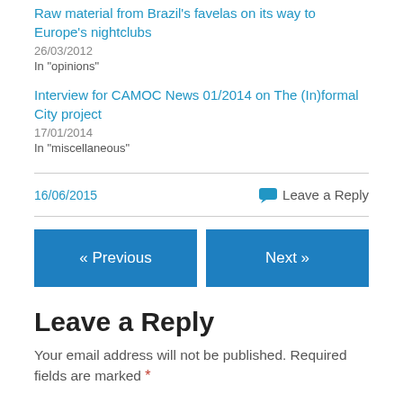Raw material from Brazil's favelas on its way to Europe's nightclubs
26/03/2012
In "opinions"
Interview for CAMOC News 01/2014 on The (In)formal City project
17/01/2014
In "miscellaneous"
16/06/2015
Leave a Reply
« Previous
Next »
Leave a Reply
Your email address will not be published. Required fields are marked *